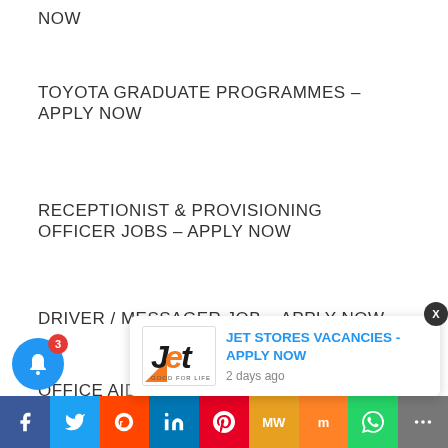NOW
TOYOTA GRADUATE PROGRAMMES – APPLY NOW
RECEPTIONIST & PROVISIONING OFFICER JOBS – APPLY NOW
DRIVER / MESSAGER JOB – APPLY NOW
OFFICE AID... RECORDS ADMINISTRATOR & INSPECT...
[Figure (infographic): Jet Stores notification popup showing logo and text 'JET STORES VACANCIES - APPLY NOW' with '2 days ago' timestamp, close button, and social media sharing bar at bottom]